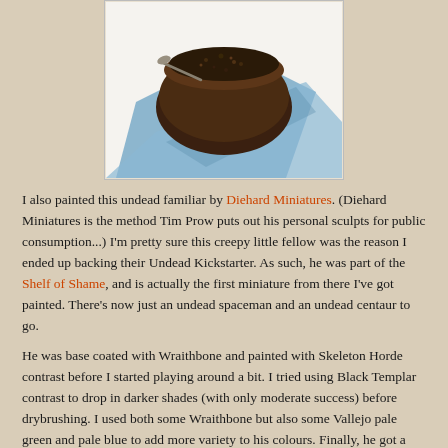[Figure (photo): A dark brown bowl or pot filled with dark soil/grit material, placed on a blue cloth/fabric, on a white surface. The miniature base is photographed from above at an angle.]
I also painted this undead familiar by Diehard Miniatures. (Diehard Miniatures is the method Tim Prow puts out his personal sculpts for public consumption...) I'm pretty sure this creepy little fellow was the reason I ended up backing their Undead Kickstarter. As such, he was part of the Shelf of Shame, and is actually the first miniature from there I've got painted. There's now just an undead spaceman and an undead centaur to go.
He was base coated with Wraithbone and painted with Skeleton Horde contrast before I started playing around a bit. I tried using Black Templar contrast to drop in darker shades (with only moderate success) before drybrushing. I used both some Wraithbone but also some Vallejo pale green and pale blue to add more variety to his colours. Finally, he got a wash of Seraphim Sepia, which brought the